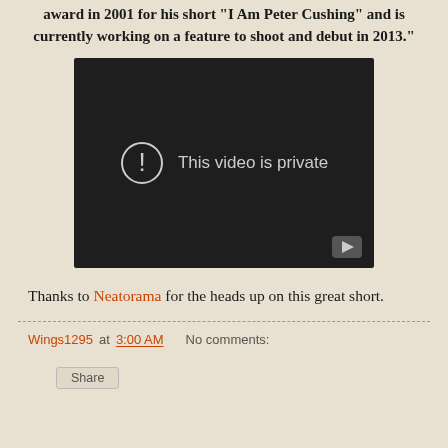award in 2001 for his short "I Am Peter Cushing" and is currently working on a feature to shoot and debut in 2013."
[Figure (screenshot): Embedded video player showing 'This video is private' message on a dark background with a play button icon in the bottom-right corner.]
Thanks to Neatorama for the heads up on this great short.
Wings1295 at 3:00 AM    No comments:
Share